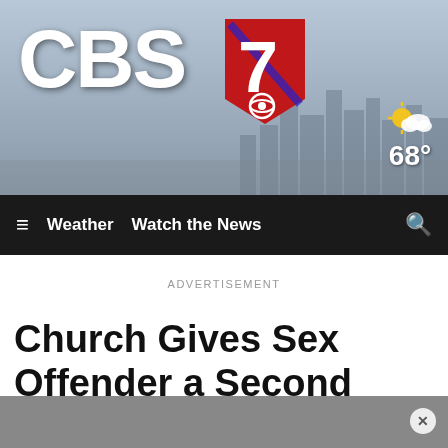[Figure (screenshot): CBS7 news website header banner with city skyline background, CBS7 logo with red/blue 7 badge, weather widget showing 68 degrees, dark navigation bar with hamburger menu, Weather, Watch the News links and search icon, advertisement label, and article title 'Church Gives Sex Offender a Second Chance']
CBS 7
≡   Weather   Watch the News
ADVERTISEMENT
Church Gives Sex Offender a Second Chance